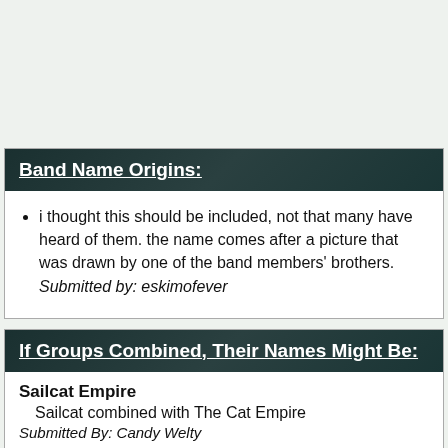Band Name Origins:
i thought this should be included, not that many have heard of them. the name comes after a picture that was drawn by one of the band members' brothers.
Submitted by: eskimofever
If Groups Combined, Their Names Might Be:
Sailcat Empire
Sailcat combined with The Cat Empire
Submitted By: Candy Welty
Faster Pussycat Empire
Faster Pussycat combined with Cat Empire